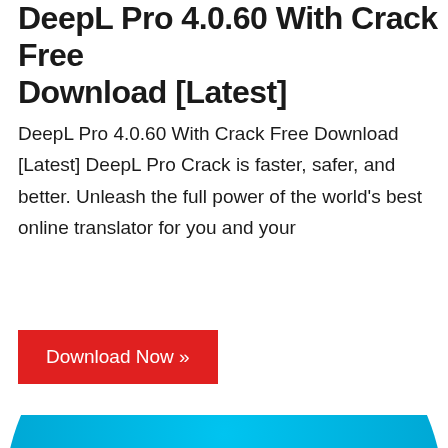DeepL Pro 4.0.60 With Crack Free Download [Latest]
DeepL Pro 4.0.60 With Crack Free Download [Latest] DeepL Pro Crack is faster, safer, and better. Unleash the full power of the world's best online translator for you and your
[Figure (other): Red download button labeled 'Download Now »']
[Figure (logo): DeepL logo — a large blue circle with stylized dark blue letter forms resembling 'DL' at the bottom, on a white background]